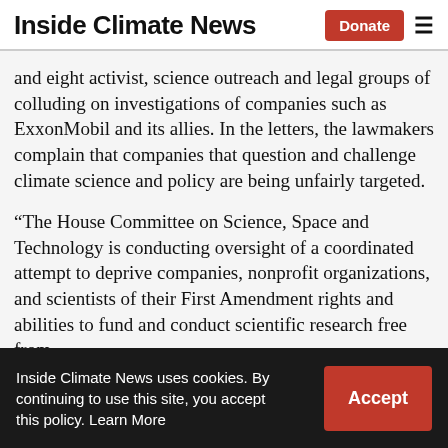Inside Climate News
and eight activist, science outreach and legal groups of colluding on investigations of companies such as ExxonMobil and its allies. In the letters, the lawmakers complain that companies that question and challenge climate science and policy are being unfairly targeted.
“The House Committee on Science, Space and Technology is conducting oversight of a coordinated attempt to deprive companies, nonprofit organizations, and scientists of their First Amendment rights and abilities to fund and conduct scientific research free from
Inside Climate News uses cookies. By continuing to use this site, you accept this policy. Learn More